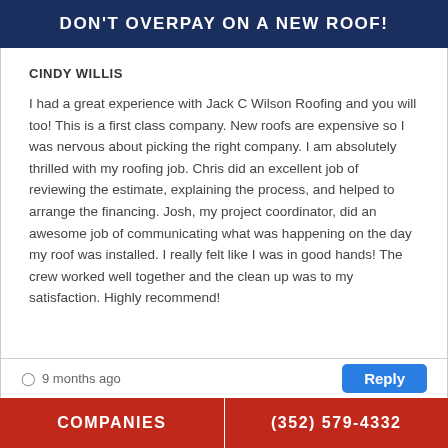DON'T OVERPAY ON A NEW ROOF!
CINDY WILLIS
I had a great experience with Jack C Wilson Roofing and you will too! This is a first class company. New roofs are expensive so I was nervous about picking the right company. I am absolutely thrilled with my roofing job. Chris did an excellent job of reviewing the estimate, explaining the process, and helped to arrange the financing. Josh, my project coordinator, did an awesome job of communicating what was happening on the day my roof was installed. I really felt like I was in good hands! The crew worked well together and the clean up was to my satisfaction. Highly recommend!
9 months ago
COMPANIES   (352) 579-4332